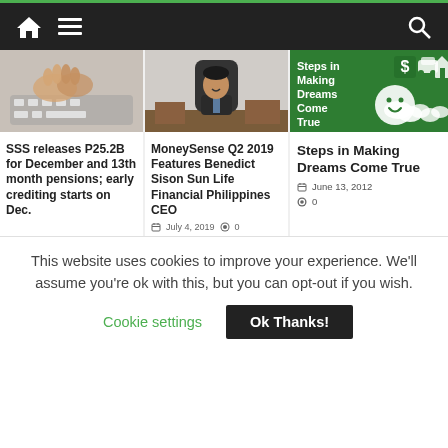Navigation bar with home, menu, and search icons
[Figure (photo): Close-up of hands typing on a keyboard]
SSS releases P25.2B for December and 13th month pensions; early crediting starts on Dec.
[Figure (photo): Business executive sitting at a desk in an office]
MoneySense Q2 2019 Features Benedict Sison Sun Life Financial Philippines CEO
July 4, 2019  0
[Figure (illustration): Green banner with Steps in Making Dreams Come True text, dollar sign, car, and house icons with smiley face]
Steps in Making Dreams Come True
June 13, 2012  0
This website uses cookies to improve your experience. We'll assume you're ok with this, but you can opt-out if you wish.
Cookie settings  Ok Thanks!